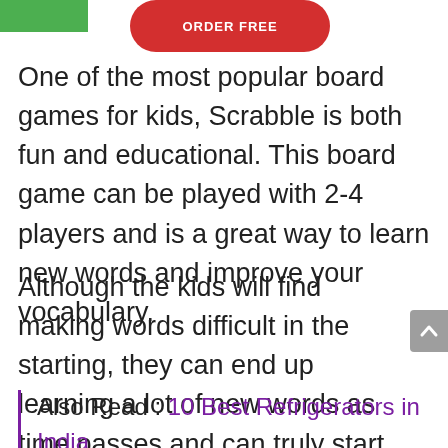[Figure (other): Green rectangle in top-left corner and red rounded button partially visible at top center]
One of the most popular board games for kids, Scrabble is both fun and educational. This board game can be played with 2-4 players and is a great way to learn new words and improve your vocabulary.
Although the kids will find making words difficult in the starting, they can end up learning a lot of new words as time passes and can truly start enjoying this game.
Also Read : 10 Best Refrigerators in India